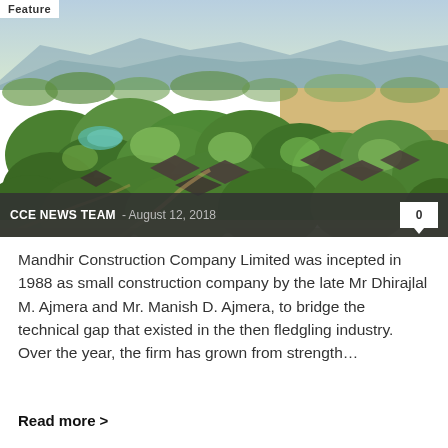Feature
[Figure (photo): Aerial drone photograph of a lodge or resort complex surrounded by dense green trees and bush savanna landscape with mountains in the background]
CCE NEWS TEAM - August 12, 2018  0
Mandhir Construction Company Limited was incepted in 1988 as small construction company by the late Mr Dhirajlal M. Ajmera and Mr. Manish D. Ajmera, to bridge the technical gap that existed in the then fledgling industry. Over the year, the firm has grown from strength...
Read more >